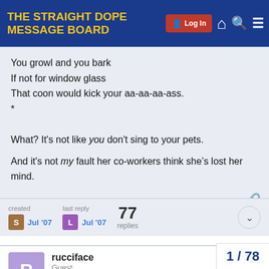THE STRAIGHT DOPE MESSAGE BOARD
You growl and you bark
If not for window glass
That coon would kick your aa-aa-aa-ass.
*

What? It's not like you don't sing to your pets.

And it's not my fault her co-workers think she's lost her mind.
created S Jul '07  last reply L Jul '07  77 replies
rucciface
Guest
Jul '07

That is indeed a charming ditty. Really, jus
1 / 78